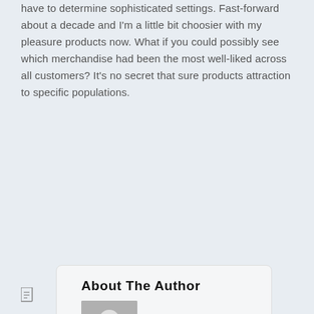have to determine sophisticated settings. Fast-forward about a decade and I'm a little bit choosier with my pleasure products now. What if you could possibly see which merchandise had been the most well-liked across all customers? It's no secret that sure products attraction to specific populations.
About The Author
[Figure (illustration): Generic user avatar placeholder image — grey background with white silhouette of a person]